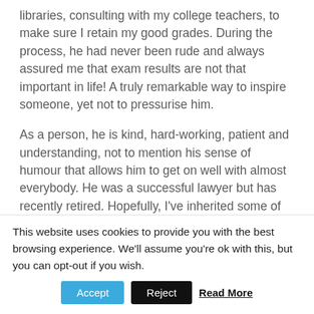libraries, consulting with my college teachers, to make sure I retain my good grades. During the process, he had never been rude and always assured me that exam results are not that important in life! A truly remarkable way to inspire someone, yet not to pressurise him.
As a person, he is kind, hard-working, patient and understanding, not to mention his sense of humour that allows him to get on well with almost everybody. He was a successful lawyer but has recently retired. Hopefully, I've inherited some of his traits and I dream to be a father to my kids the way he is to me!
This website uses cookies to provide you with the best browsing experience. We'll assume you're ok with this, but you can opt-out if you wish.